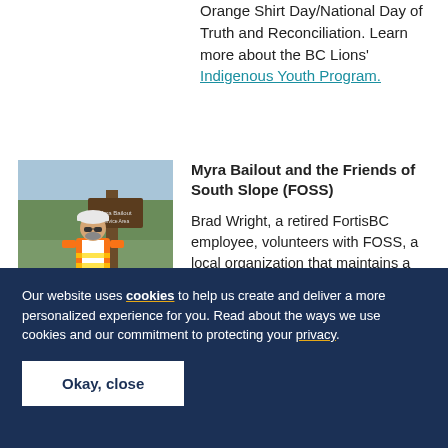Orange Shirt Day/National Day of Truth and Reconciliation. Learn more about the BC Lions' Indigenous Youth Program.
[Figure (photo): Person in orange safety vest and white hard hat standing next to a wooden post sign in an outdoor/forest setting]
Myra Bailout and the Friends of South Slope (FOSS)
Brad Wright, a retired FortisBC employee, volunteers with FOSS, a local organization that maintains a network of trails in
Our website uses cookies to help us create and deliver a more personalized experience for you. Read about the ways we use cookies and our commitment to protecting your privacy.
Okay, close